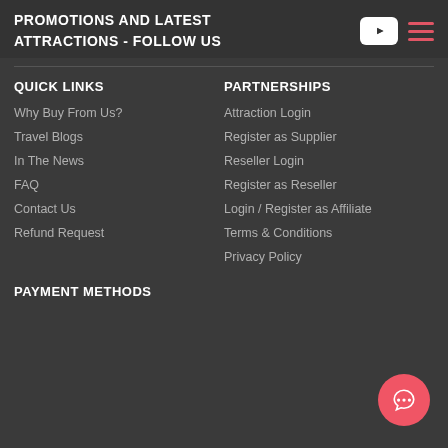PROMOTIONS AND LATEST ATTRACTIONS - FOLLOW US
QUICK LINKS
Why Buy From Us?
Travel Blogs
In The News
FAQ
Contact Us
Refund Request
PARTNERSHIPS
Attraction Login
Register as Supplier
Reseller Login
Register as Reseller
Login / Register as Affiliate
Terms & Conditions
Privacy Policy
PAYMENT METHODS